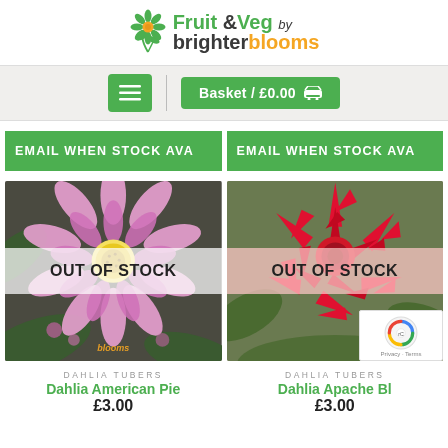[Figure (logo): Fruit & Veg by brighter blooms logo with flower icon]
[Figure (screenshot): Navigation bar with hamburger menu button and Basket / £0.00 cart button on grey background]
EMAIL WHEN STOCK AVA...
EMAIL WHEN STOCK AVA...
[Figure (photo): Pink dahlia flower with OUT OF STOCK overlay, watermark 'blooms']
[Figure (photo): Red spiky dahlia flower with OUT OF STOCK overlay]
DAHLIA TUBERS
Dahlia American Pie
£3.00
DAHLIA TUBERS
Dahlia Apache Bl...
£3.00